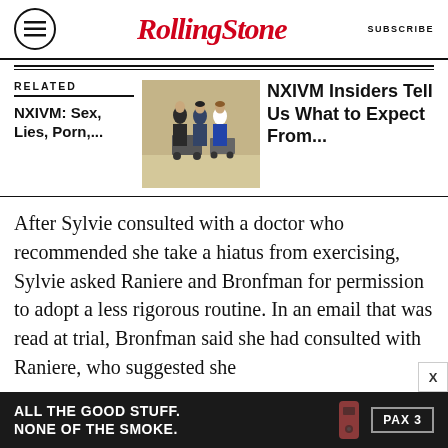Rolling Stone — SUBSCRIBE
RELATED
NXIVM: Sex, Lies, Porn,...
[Figure (photo): People pushing luggage carts in a corridor, walking quickly]
NXIVM Insiders Tell Us What to Expect From...
After Sylvie consulted with a doctor who recommended she take a hiatus from exercising, Sylvie asked Raniere and Bronfman for permission to adopt a less rigorous routine. In an email that was read at trial, Bronfman said she had consulted with Raniere, who suggested she
[Figure (other): Advertisement: ALL THE GOOD STUFF. NONE OF THE SMOKE. PAX 3]